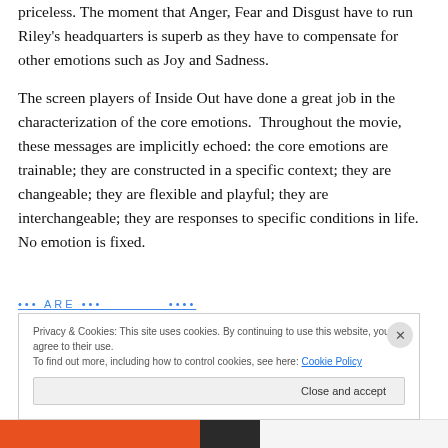priceless. The moment that Anger, Fear and Disgust have to run Riley's headquarters is superb as they have to compensate for other emotions such as Joy and Sadness.
The screen players of Inside Out have done a great job in the characterization of the core emotions.  Throughout the movie, these messages are implicitly echoed: the core emotions are trainable; they are constructed in a specific context; they are changeable; they are flexible and playful; they are interchangeable; they are responses to specific conditions in life. No emotion is fixed.
Privacy & Cookies: This site uses cookies. By continuing to use this website, you agree to their use.
To find out more, including how to control cookies, see here: Cookie Policy